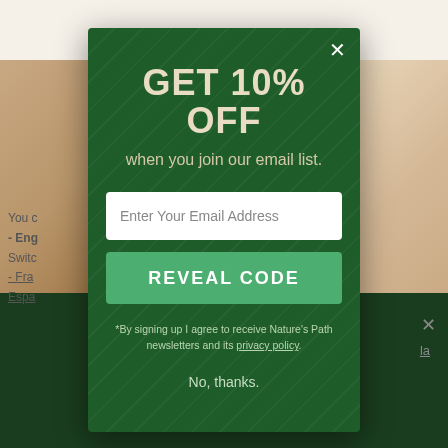[Figure (screenshot): Background webpage content partially visible behind modal, showing product images and page text on cream background, with dark green footer band at bottom]
GET 10% OFF
when you join our email list.
Enter Your Email Address
REVEAL CODE
*By signing up I agree to receive Nature's Path newsletters and its privacy policy.
No, thanks.